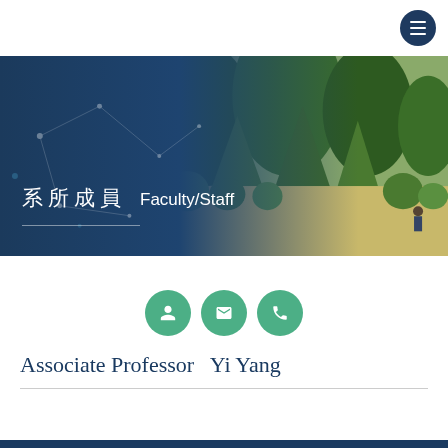[Figure (screenshot): University department website screenshot showing a banner with Chinese and English text 系所成員 Faculty/Staff over a dark blue overlay with a topiary garden photo, a hamburger menu button, three green icon circles, and a professor name heading.]
系所成員  Faculty/Staff
Associate Professor  Yi Yang